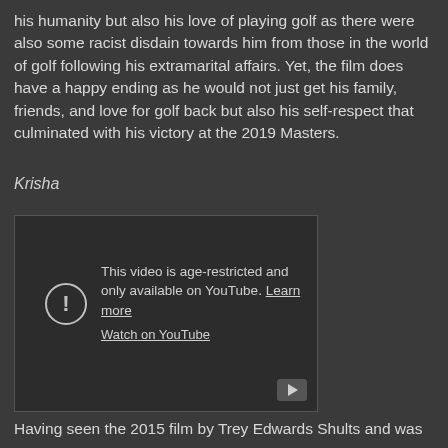his humanity but also his love of playing golf as there were also some racist disdain towards him from those in the world of golf following his extramarital affairs. Yet, the film does have a happy ending as he would not just get his family, friends, and love for golf back but also his self-respect that culminated with his victory at the 2019 Masters.
Krisha
[Figure (screenshot): An embedded YouTube video showing an age-restricted message: 'This video is age-restricted and only available on YouTube. Learn more' with a 'Watch on YouTube' link, an exclamation mark icon, and a play button in the bottom right corner.]
Having seen the 2015 film by Trey Edwards Shults and was